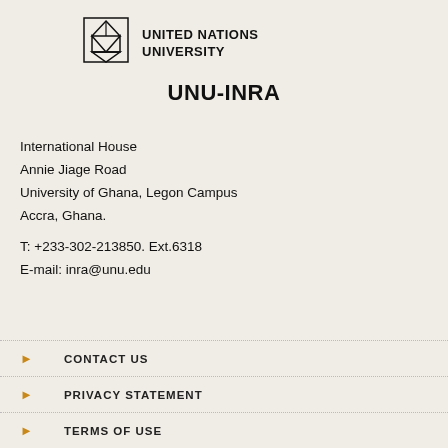[Figure (logo): United Nations University logo with UNU-INRA text]
UNU-INRA
International House
Annie Jiage Road
University of Ghana, Legon Campus
Accra, Ghana.
T: +233-302-213850. Ext.6318
E-mail: inra@unu.edu
CONTACT US
PRIVACY STATEMENT
TERMS OF USE